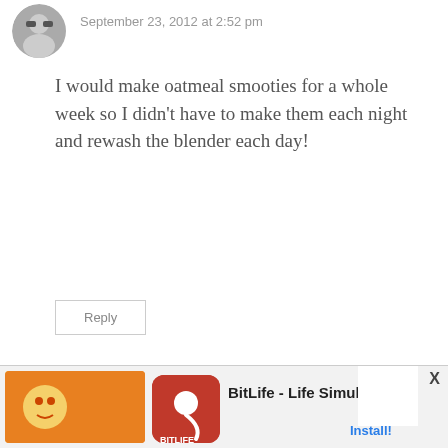[Figure (photo): Small circular profile photo/avatar at top left]
September 23, 2012 at 2:52 pm
I would make oatmeal smooties for a whole week so I didn't have to make them each night and rewash the blender each day!
Reply
[Figure (logo): Blue circular power/reload icon avatar for Kim]
Kim says:
September 23, 2012 at 3:06 pm
LOVE!
[Figure (infographic): BitLife - Life Simulator advertisement banner at the bottom]